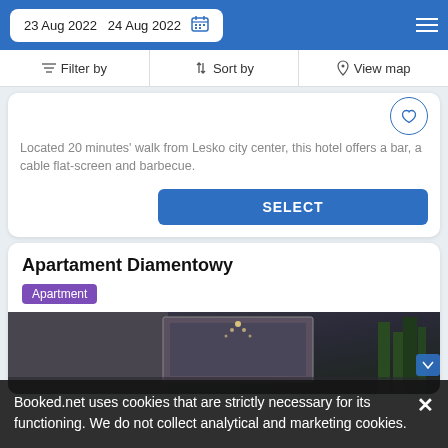23 Aug 2022  24 Aug 2022
Filter by  Sort by  View map
Located 20 minutes' walk from Lesko city center, this hotel offers a bar, a cable flat-screen and barbecue.
SELECT
Apartament Diamentowy
Apartment
[Figure (photo): Interior photo of Apartament Diamentowy showing a dark-toned room with a chandelier and decorative plants.]
Booked.net uses cookies that are strictly necessary for its functioning. We do not collect analytical and marketing cookies.